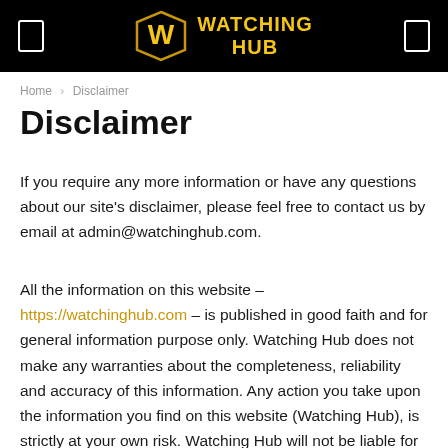WATCHING HUB
Home / Disclaimer
Disclaimer
If you require any more information or have any questions about our site's disclaimer, please feel free to contact us by email at admin@watchinghub.com.
All the information on this website – https://watchinghub.com – is published in good faith and for general information purpose only. Watching Hub does not make any warranties about the completeness, reliability and accuracy of this information. Any action you take upon the information you find on this website (Watching Hub), is strictly at your own risk. Watching Hub will not be liable for any losses and/or damages in connection with the use of